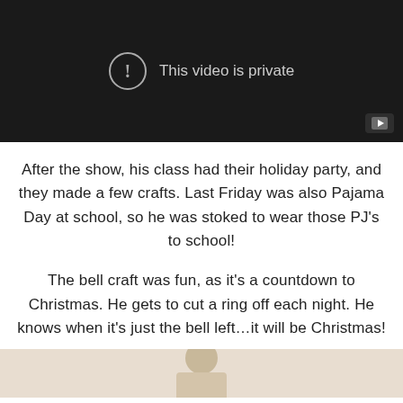[Figure (screenshot): A private YouTube video embed showing a dark background with an exclamation icon and the text 'This video is private', plus a YouTube button in the bottom right corner.]
After the show, his class had their holiday party, and they made a few crafts. Last Friday was also Pajama Day at school, so he was stoked to wear those PJ's to school!
The bell craft was fun, as it's a countdown to Christmas. He gets to cut a ring off each night. He knows when it's just the bell left…it will be Christmas!
[Figure (photo): Partial photo showing what appears to be a person, cropped at the bottom of the page, with a light beige/tan background.]